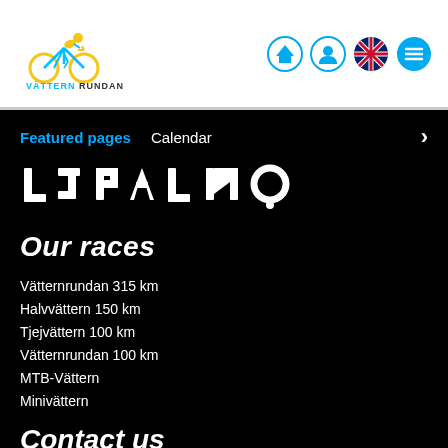[Figure (logo): Vätternrundan logo with cyclist icon and text]
[Figure (logo): Navigation icons: home, user, UK flag, menu]
Featured pages   Calendar
[Figure (logo): Löplans sponsor logo in white on black]
Our races
Vätternrundan 315 km
Halvvättern 150 km
Tjejvättern 100 km
Vätternrundan 100 km
MTB-Vättern
Minivättern
Contact us
Vätternrundan